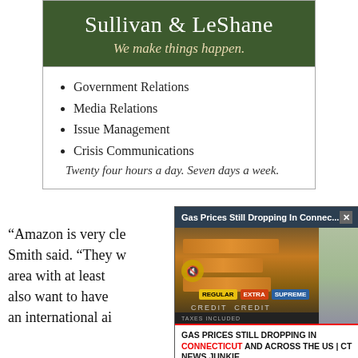[Figure (infographic): Sullivan & LeShane advertisement with dark green header, company name, tagline 'We make things happen.', bullet list of services, and italic footer text.]
Government Relations
Media Relations
Issue Management
Crisis Communications
Twenty four hours a day. Seven days a week.
“Amazon is very cle... Smith said. “They w... area with at least ... also want to have ... an international ai...
[Figure (screenshot): Video popup overlay titled 'Gas Prices Still Dropping In Connec...' showing a gas station price sign with orange stripes, pump type labels (Regular, Extra, Supreme), mute button, and caption 'GAS PRICES STILL DROPPING IN CONNECTICUT AND ACROSS THE US | CT NEWS JUNKIE']